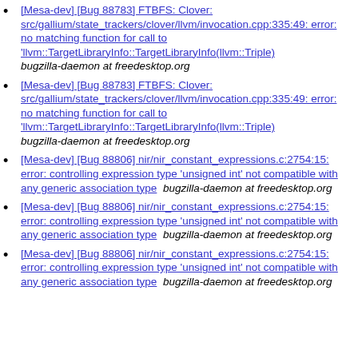[Mesa-dev] [Bug 88783] FTBFS: Clover: src/gallium/state_trackers/clover/llvm/invocation.cpp:335:49: error: no matching function for call to 'llvm::TargetLibraryInfo::TargetLibraryInfo(llvm::Triple)  bugzilla-daemon at freedesktop.org
[Mesa-dev] [Bug 88783] FTBFS: Clover: src/gallium/state_trackers/clover/llvm/invocation.cpp:335:49: error: no matching function for call to 'llvm::TargetLibraryInfo::TargetLibraryInfo(llvm::Triple)  bugzilla-daemon at freedesktop.org
[Mesa-dev] [Bug 88806] nir/nir_constant_expressions.c:2754:15: error: controlling expression type 'unsigned int' not compatible with any generic association type  bugzilla-daemon at freedesktop.org
[Mesa-dev] [Bug 88806] nir/nir_constant_expressions.c:2754:15: error: controlling expression type 'unsigned int' not compatible with any generic association type  bugzilla-daemon at freedesktop.org
[Mesa-dev] [Bug 88806] nir/nir_constant_expressions.c:2754:15: error: controlling expression type 'unsigned int' not compatible with any generic association type  bugzilla-daemon at freedesktop.org